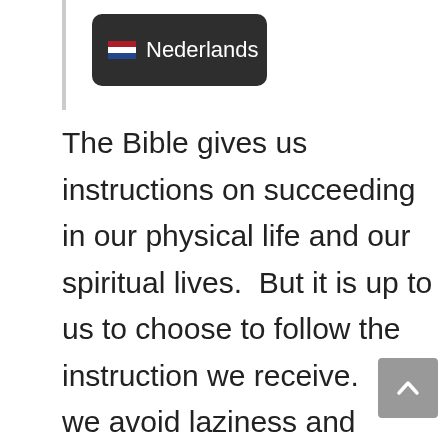[Figure (screenshot): Nederlands language button with Dutch flag icon on dark background]
The Bible gives us instructions on succeeding in our physical life and our spiritual lives.  But it is up to us to choose to follow the instruction we receive.  If we avoid laziness and practice being industrious, this trait will benefit us and others.  If we are busy with our homework, we will reap the benefits of a successful education.  If we are honest with others, people will respect and trust us.  Applying these simple